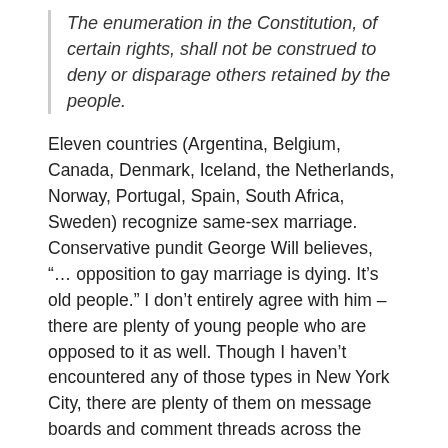The enumeration in the Constitution, of certain rights, shall not be construed to deny or disparage others retained by the people.
Eleven countries (Argentina, Belgium, Canada, Denmark, Iceland, the Netherlands, Norway, Portugal, Spain, South Africa, Sweden) recognize same-sex marriage. Conservative pundit George Will believes, “… opposition to gay marriage is dying. It’s old people.” I don’t entirely agree with him – there are plenty of young people who are opposed to it as well. Though I haven’t encountered any of those types in New York City, there are plenty of them on message boards and comment threads across the Internet. But they should be afraid for their civil rights when one group of people is denied something a privileged group takes for granted. If same-sex couples are denied a right to marry, based on the specious